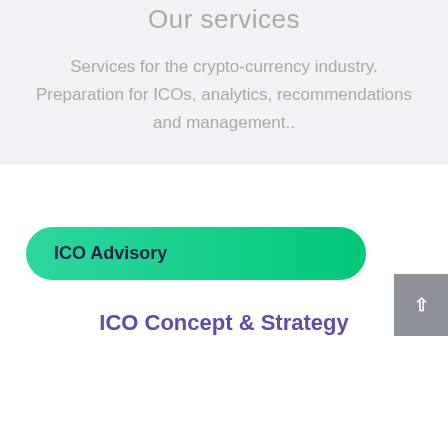Our services
Services for the crypto-currency industry. Preparation for ICOs, analytics, recommendations and management..
ICO Advisory
ICO Concept & Strategy